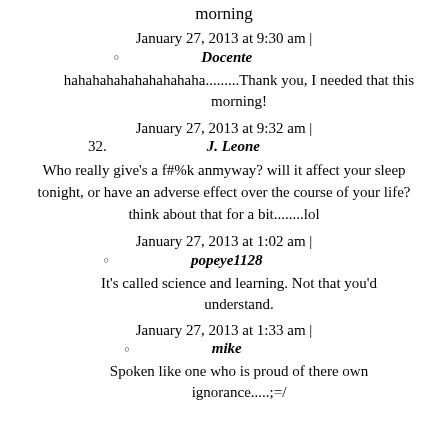morning
January 27, 2013 at 9:30 am |
Docente
hahahahahahahahaha.........Thank you, I needed that this morning!
January 27, 2013 at 9:32 am |
J. Leone
Who really give's a f#%k anmyway? will it affect your sleep tonight, or have an adverse effect over the course of your life? think about that for a bit........lol
January 27, 2013 at 1:02 am |
popeye1128
It's called science and learning. Not that you'd understand.
January 27, 2013 at 1:33 am |
mike
Spoken like one who is proud of there own ignorance.....;=/